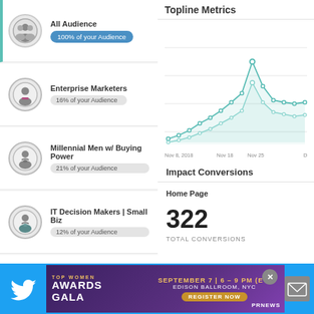All Audience — 100% of your Audience
Enterprise Marketers — 16% of your Audience
Millennial Men w/ Buying Power — 21% of your Audience
IT Decision Makers | Small Biz — 12% of your Audience
Executives with Children — 27% of your Audience
Topline Metrics
[Figure (line-chart): Line chart showing topline metrics over time with teal/mint colored lines and circle markers. X-axis shows dates: Nov 8 2018, Nov 18, Nov 25, D (December). Lines peak around Nov 25.]
Impact Conversions
Home Page
322
TOTAL CONVERSIONS
Trailing 90 Days
[Figure (infographic): Advertisement banner: Top Women Awards Gala, September 7 | 6-9 PM (ET), Edison Ballroom, NYC. Register Now. PRNews. Twitter icon on left, envelope icon on right.]